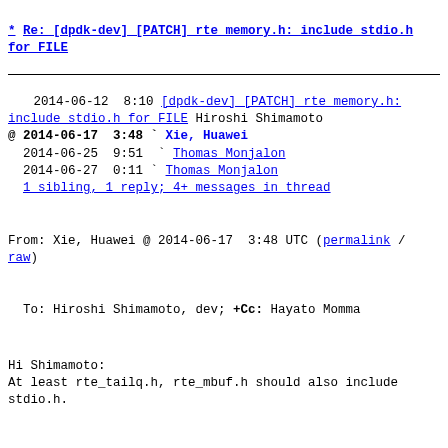* Re: [dpdk-dev] [PATCH] rte_memory.h: include stdio.h for FILE
2014-06-12  8:10 [dpdk-dev] [PATCH] rte_memory.h: include stdio.h for FILE Hiroshi Shimamoto
@ 2014-06-17  3:48 ` Xie, Huawei
   2014-06-25  9:51   ` Thomas Monjalon
   2014-06-27  0:11 ` Thomas Monjalon
   1 sibling, 1 reply; 4+ messages in thread
From: Xie, Huawei @ 2014-06-17  3:48 UTC (permalink / raw)
To: Hiroshi Shimamoto, dev; +Cc: Hayato Momma
Hi Shimamoto:
At least rte_tailq.h, rte_mbuf.h should also include
stdio.h.
-----Original Message-----
From: dev [mailto:dev-bounces@dpdk.org] On Behalf Of
Hiroshi Shimamoto
Sent: Thursday, June 12, 2014 4:11 PM
To: dev@dpdk.org
Cc: Hayato Momma
Subject: [dpdk-dev] [PATCH] rte_memory.h: include
stdio.h for FILE
From: Hiroshi Shimamoto <h-shimamoto@ct.jp.nec.com>
The below commit requires stdio FILE structure.
commit 591a9d7985c1230652d9f7ea1f9221e8c66ec188